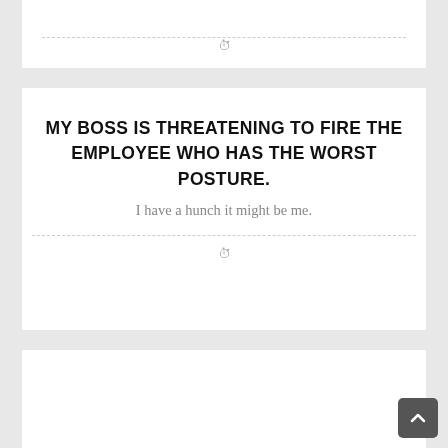MY BOSS IS THREATENING TO FIRE THE EMPLOYEE WHO HAS THE WORST POSTURE.
I have a hunch it might be me.